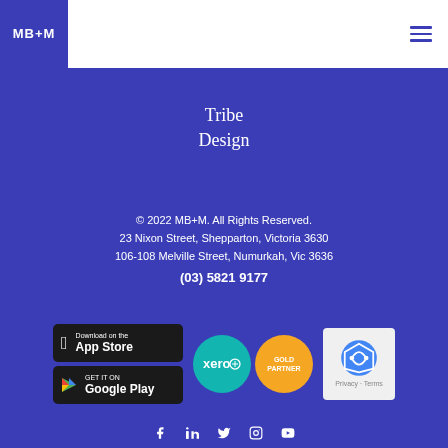MB+M
Tribe
Design
© 2022 MB+M. All Rights Reserved.
23 Nixon Street, Shepparton, Victoria 3630
106-108 Melville Street, Numurkah, Vic 3636
(03) 5821 9177
[Figure (logo): App Store download badge]
[Figure (logo): Google Play download badge]
[Figure (logo): Xero Gold Partner badge]
[Figure (logo): reCAPTCHA badge with Privacy and Terms]
Social media icons: Facebook, LinkedIn, Twitter, Instagram, YouTube